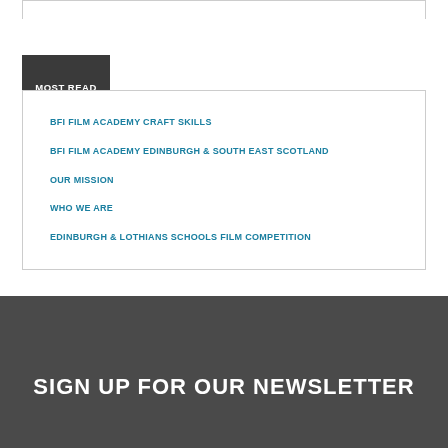MOST READ
BFI FILM ACADEMY CRAFT SKILLS
BFI FILM ACADEMY EDINBURGH & SOUTH EAST SCOTLAND
OUR MISSION
WHO WE ARE
EDINBURGH & LOTHIANS SCHOOLS FILM COMPETITION
SIGN UP FOR OUR NEWSLETTER